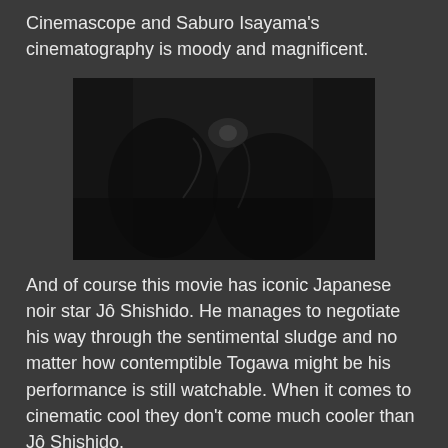Cinemascope and Saburo Isayama's cinematography is moody and magnificent.
[Figure (photo): A dark, moody black-and-white film still showing silhouetted figures in low light, consistent with Japanese noir cinematography.]
And of course this movie has iconic Japanese noir star Jô Shishido. He manages to negotiate his way through the sentimental sludge and no matter how contemptible Togawa might be his performance is still watchable. When it comes to cinematic cool they don't come much cooler than Jô Shishido.
The movie's biggest single flaw is that the characters are almost all detestable. It's hard to think of a single character with a single redeeming quality.
The tensions between the characters fail to generate much